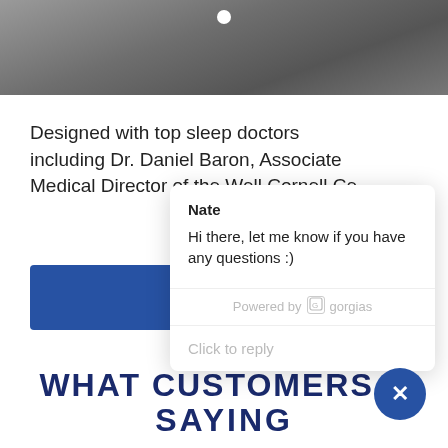[Figure (photo): Top banner image showing a dark gray textured surface, possibly a mattress or fabric, with a white carousel dot indicator at the top center.]
Designed with top sleep doctors including Dr. Daniel Baron, Associate Medical Director of the Well Cornell Ce
[Figure (screenshot): Chat popup widget from Gorgias showing agent named 'Nate' with message: 'Hi there, let me know if you have any questions :)' and a 'Click to reply' input area. Powered by gorgias branding at bottom.]
WHAT CUSTOMERS A SAYING